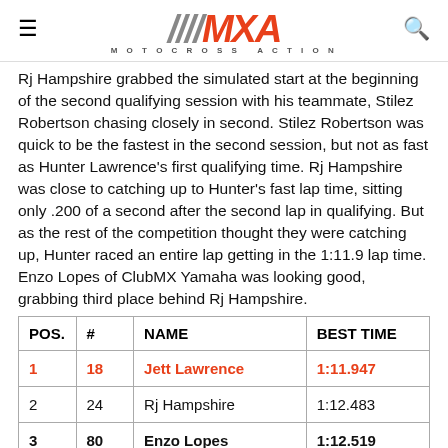MXA MOTOCROSS ACTION
Rj Hampshire grabbed the simulated start at the beginning of the second qualifying session with his teammate, Stilez Robertson chasing closely in second. Stilez Robertson was quick to be the fastest in the second session, but not as fast as Hunter Lawrence's first qualifying time. Rj Hampshire was close to catching up to Hunter's fast lap time, sitting only .200 of a second after the second lap in qualifying. But as the rest of the competition thought they were catching up, Hunter raced an entire lap getting in the 1:11.9 lap time. Enzo Lopes of ClubMX Yamaha was looking good, grabbing third place behind Rj Hampshire.
| POS. | # | NAME | BEST TIME |
| --- | --- | --- | --- |
| 1 | 18 | Jett Lawrence | 1:11.947 |
| 2 | 24 | Rj Hampshire | 1:12.483 |
| 3 | 80 | Enzo Lopes | 1:12.519 |